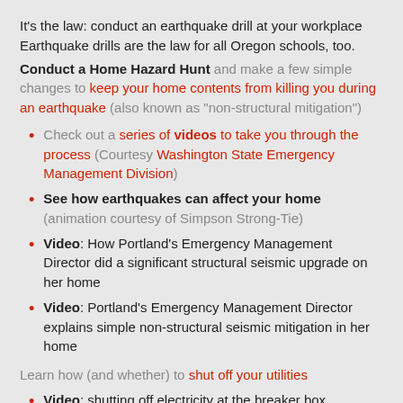It's the law: conduct an earthquake drill at your workplace Earthquake drills are the law for all Oregon schools, too.
Conduct a Home Hazard Hunt and make a few simple changes to keep your home contents from killing you during an earthquake (also known as "non-structural mitigation")
Check out a series of videos to take you through the process (Courtesy Washington State Emergency Management Division)
See how earthquakes can affect your home (animation courtesy of Simpson Strong-Tie)
Video: How Portland's Emergency Management Director did a significant structural seismic upgrade on her home
Video: Portland's Emergency Management Director explains simple non-structural seismic mitigation in her home
Learn how (and whether) to shut off your utilities
Video: shutting off electricity at the breaker box
Video: turning off propane (LPG) service